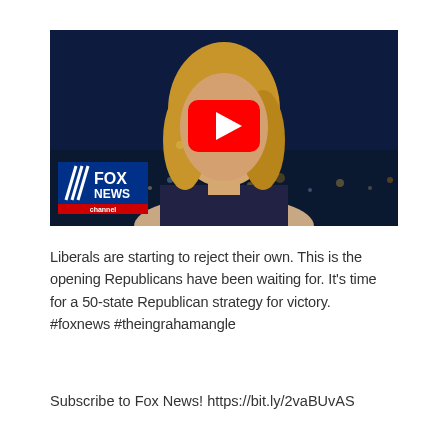[Figure (screenshot): YouTube video thumbnail showing a Fox News broadcast. A blonde woman (news anchor) is shown from the shoulders up against a dark blue background with city lights. A red YouTube play button is overlaid in the center. The Fox News channel logo is visible in the bottom-left corner.]
Liberals are starting to reject their own. This is the opening Republicans have been waiting for. It's time for a 50-state Republican strategy for victory. #foxnews #theingrahamangle
Subscribe to Fox News! https://bit.ly/2vaBUvAS